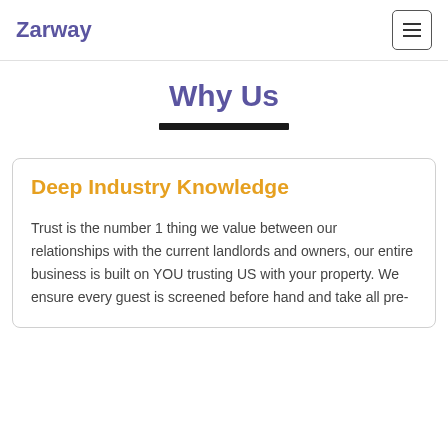Zarway
Why Us
Deep Industry Knowledge
Trust is the number 1 thing we value between our relationships with the current landlords and owners, our entire business is built on YOU trusting US with your property. We ensure every guest is screened before hand and take all pre-